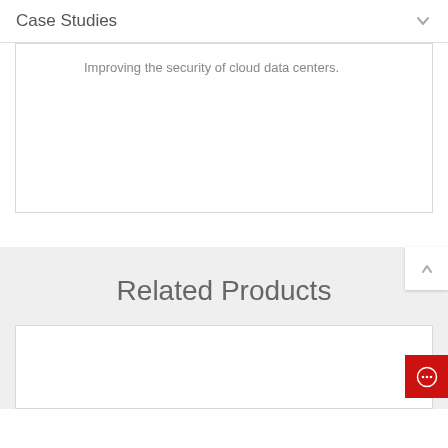Case Studies
Improving the security of cloud data centers.
Related Products